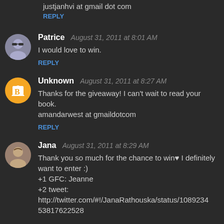justjanhvi at gmail dot com
REPLY
Patrice  August 31, 2011 at 8:01 AM
I would love to win.
REPLY
Unknown  August 31, 2011 at 8:27 AM
Thanks for the giveaway! I can't wait to read your book.
amandarwest at gmaildotcom
REPLY
Jana  August 31, 2011 at 8:29 AM
Thank you so much for the chance to win♥ I definitely want to enter :)
+1 GFC: Jeanne
+2 tweet:
http://twitter.com/#!/JanaRathouska/status/108923453817622528